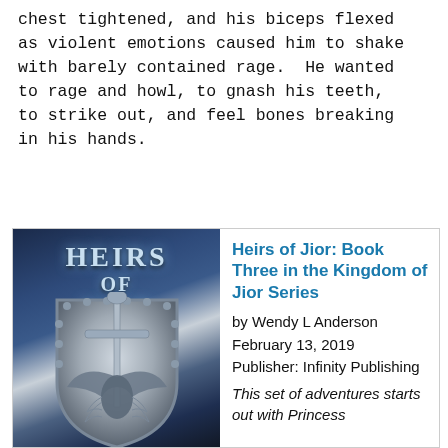chest tightened, and his biceps flexed as violent emotions caused him to shake with barely contained rage. He wanted to rage and howl, to gnash his teeth, to strike out, and feel bones breaking in his hands.
[Figure (illustration): Book cover of 'Heirs of Jior' with fantasy title text in icy blue lettering over a dramatic stormy sky, featuring a shield with sword and eagle/wing motifs in the foreground.]
Heirs of Jior: Book Three in the Kingdom of Jior Series
by Wendy L Anderson
February 13, 2019
Publisher: Infinity Publishing
This set of adventures starts out with Princess